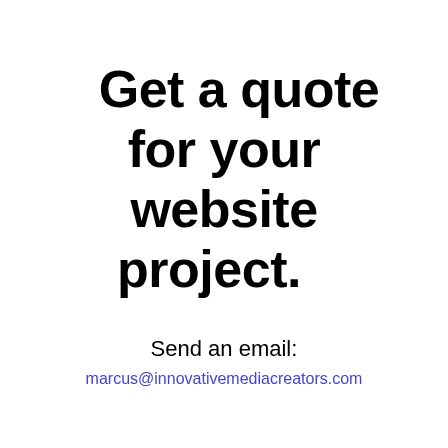Get a quote for your website project.
Send an email:
marcus@innovativemediacreators.com